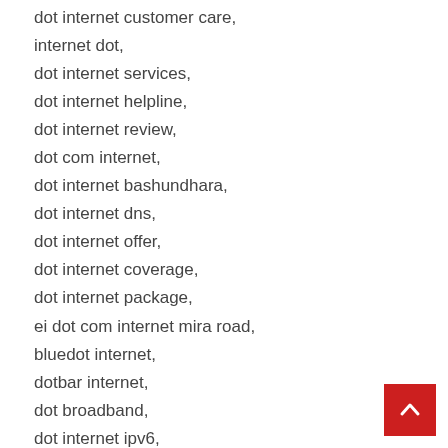dot internet customer care,
internet dot,
dot internet services,
dot internet helpline,
dot internet review,
dot com internet,
dot internet bashundhara,
dot internet dns,
dot internet offer,
dot internet coverage,
dot internet package,
ei dot com internet mira road,
bluedot internet,
dotbar internet,
dot broadband,
dot internet ipv6,
ipv6 dot internet,
dot w3 internet,
dot3 internet,